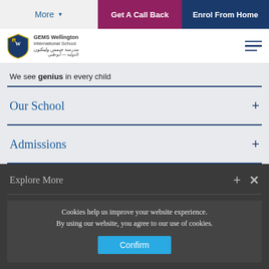More | Get A Call Back | Enrol From Home
[Figure (logo): GEMS Wellington International School shield logo with English and Arabic text]
We see genius in every child
Our School
Admissions
Explore More
Cookies help us improve your website experience. By using our website, you agree to our use of cookies.
Confirm
GEMS Wellington International School